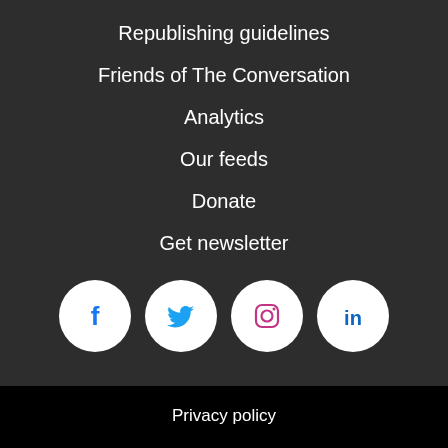Republishing guidelines
Friends of The Conversation
Analytics
Our feeds
Donate
Get newsletter
[Figure (other): Four social media icons in white circles: Facebook, Twitter, Instagram, LinkedIn]
Privacy policy
Terms and conditions
Corrections
Copyright © 2010–2023, The Conversation US, Inc.